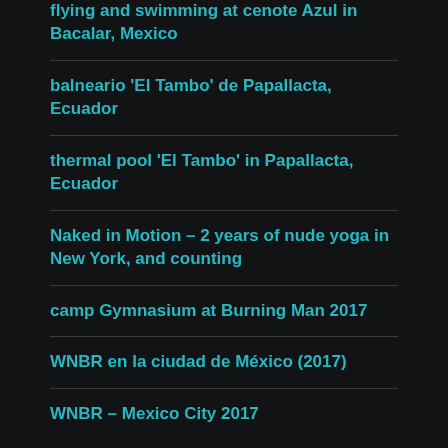flying and swimming at cenote Azul in Bacalar, Mexico
balneario 'El Tambo' de Papallacta, Ecuador
thermal pool 'El Tambo' in Papallacta, Ecuador
Naked in Motion – 2 years of nude yoga in New York, and counting
camp Gymnasium at Burning Man 2017
WNBR en la ciudad de México (2017)
WNBR – Mexico City 2017